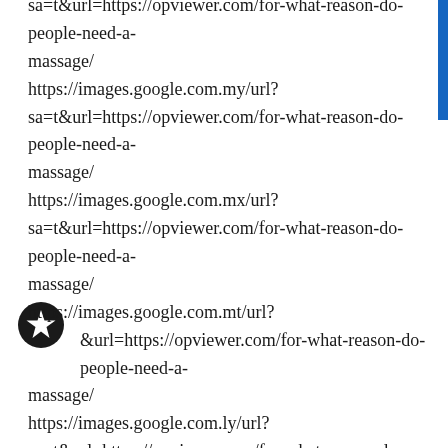sa=t&url=https://opviewer.com/for-what-reason-do-people-need-a-massage/
https://images.google.com.my/url?
sa=t&url=https://opviewer.com/for-what-reason-do-people-need-a-massage/
https://images.google.com.mx/url?
sa=t&url=https://opviewer.com/for-what-reason-do-people-need-a-massage/
https://images.google.com.mt/url?
sa=t&url=https://opviewer.com/for-what-reason-do-people-need-a-massage/
https://images.google.com.ly/url?
sa=t&url=https://opviewer.com/for-what-reason-do-people-need-a-massage/
https://images.google.com.lb/url?
sa=t&url=https://opviewer.com/for-what-reason-do-people-need-a-massage/
https://images.google.com.kw/url?